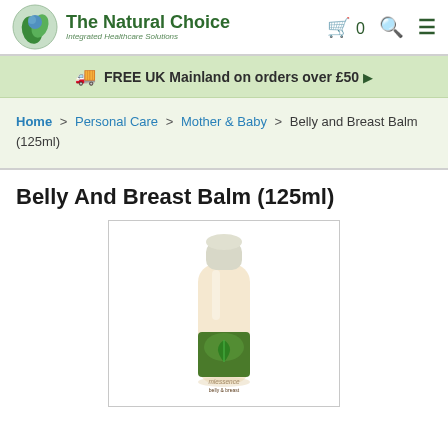The Natural Choice – Integrated Healthcare Solutions
FREE UK Mainland on orders over £50 ▶
Home > Personal Care > Mother & Baby > Belly and Breast Balm (125ml)
Belly And Breast Balm (125ml)
[Figure (photo): Product photo of Miessence Belly and Breast Balm 125ml bottle with green leaf label]